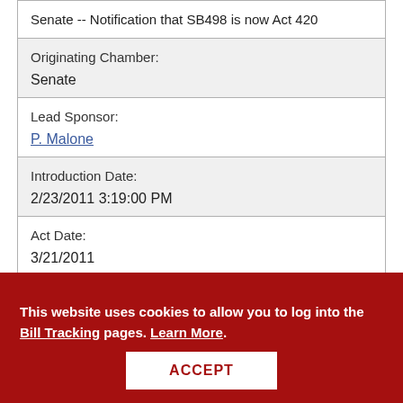| Senate -- Notification that SB498 is now Act 420 |
| Originating Chamber:

Senate |
| Lead Sponsor:

P. Malone |
| Introduction Date:

2/23/2011 3:19:00 PM |
| Act Date:

3/21/2011 |
This website uses cookies to allow you to log into the Bill Tracking pages. Learn More.
ACCEPT